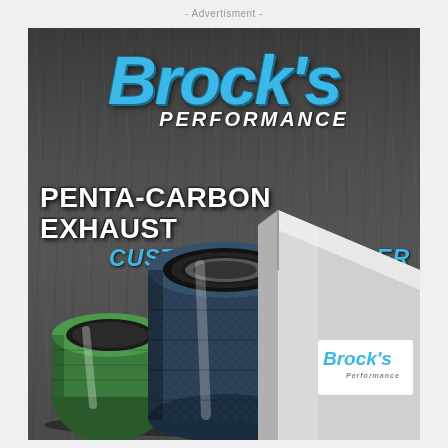- Advertisment -
[Figure (photo): Brock's Performance advertisement showing Penta-Carbon Exhaust with custom carbon fiber end caps. Dark wood-textured background. Top shows Brock's Performance logo in blue italic text. Center text reads 'PENTA-CARBON EXHAUST' in white bold and 'CUSTOM CARBON FIBER END CAPS' in blue italic. Bottom portion shows three exhaust tip products: a green anodized tip on the left, a blue carbon fiber tip in the center, and a silver exhaust with Brock's logo label on the right.]